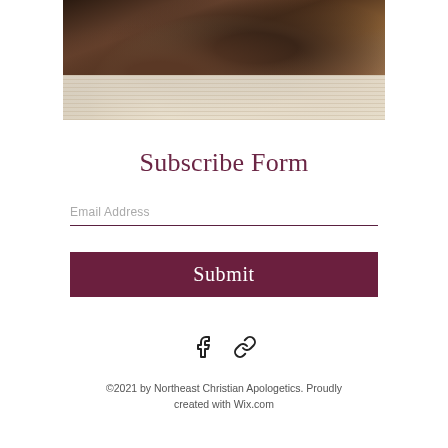[Figure (photo): Overhead view of multiple hands of diverse people clasped together over open Bible pages]
Subscribe Form
Email Address
Submit
[Figure (other): Social media icons: Facebook icon and link/chain icon]
©2021 by Northeast Christian Apologetics. Proudly created with Wix.com